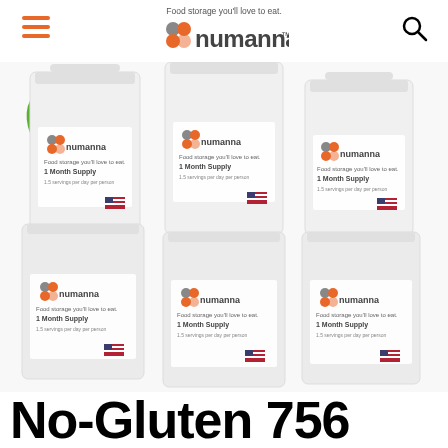numanna - Food storage you'll love to eat.
[Figure (photo): Six white plastic buckets with NuManna brand labels arranged in two rows of three, stacked on top of each other. Each bucket has a NuManna logo and '1 Month Supply' text on the label along with an American flag graphic. A green leaf icon is visible in the upper left corner of the image.]
No-Gluten 756